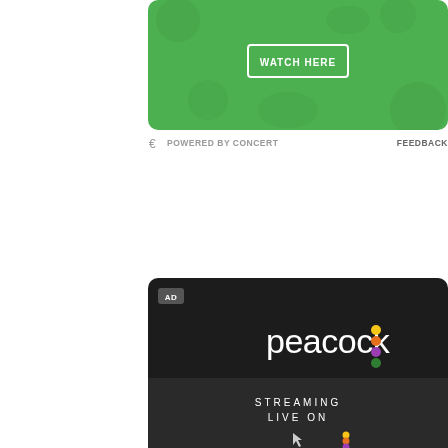[Figure (illustration): Green banner advertisement with 'WATCH HERE' button in white border rectangle on a green textured background with subtle food/vegetable pattern]
POWERED BY CONCERT   FEEDBACK
[Figure (illustration): Peacock streaming service advertisement on dark/black background showing Peacock logo with colorful dots, 'AD' tag, and text 'STREAMING LIVE ON' with Peacock dots logo and cursor icon]